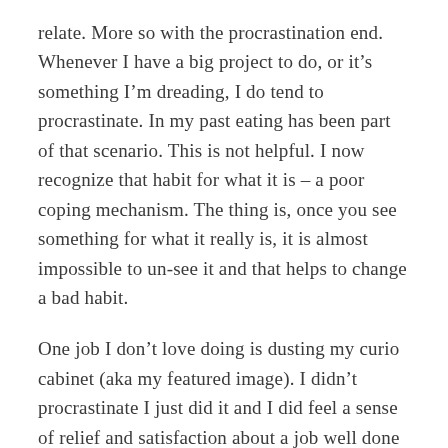relate. More so with the procrastination end. Whenever I have a big project to do, or it's something I'm dreading, I do tend to procrastinate. In my past eating has been part of that scenario. This is not helpful. I now recognize that habit for what it is – a poor coping mechanism. The thing is, once you see something for what it really is, it is almost impossible to un-see it and that helps to change a bad habit.
One job I don't love doing is dusting my curio cabinet (aka my featured image). I didn't procrastinate I just did it and I did feel a sense of relief and satisfaction about a job well done once it was finished. I wonder, what are somethings you have to do that causes you to procrastinate? Have you ever had an episode of diversion eating?